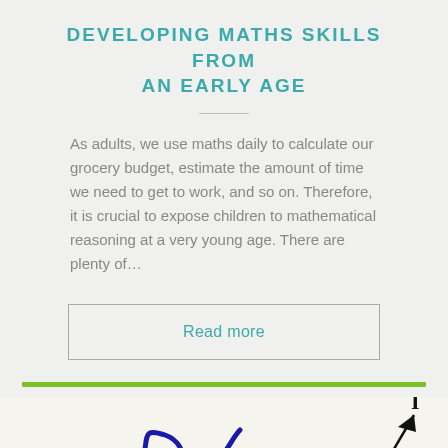DEVELOPING MATHS SKILLS FROM AN EARLY AGE
As adults, we use maths daily to calculate our grocery budget, estimate the amount of time we need to get to work, and so on. Therefore, it is crucial to expose children to mathematical reasoning at a very young age. There are plenty of…
Read more
[Figure (illustration): Blue scribble/squiggle illustration on bottom-left and a black arrow pointing upper-right on bottom-right, on a light cream background section.]